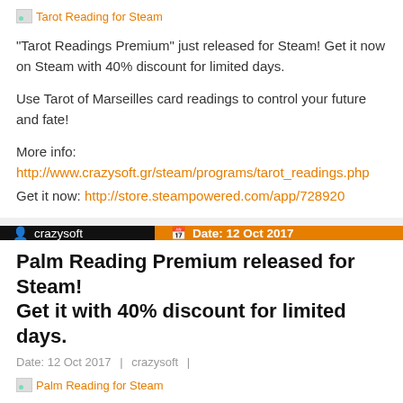[Figure (illustration): Small image placeholder icon with orange link text 'Tarot Reading for Steam']
"Tarot Readings Premium" just released for Steam! Get it now on Steam with 40% discount for limited days.
Use Tarot of Marseilles card readings to control your future and fate!
More info: http://www.crazysoft.gr/steam/programs/tarot_readings.php
Get it now: http://store.steampowered.com/app/728920
crazysoft   Date: 12 Oct 2017
Palm Reading Premium released for Steam! Get it with 40% discount for limited days.
Date: 12 Oct 2017  |  crazysoft  |
[Figure (illustration): Small image placeholder icon with orange link text 'Palm Reading for Steam']